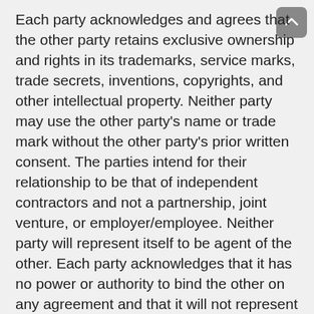Each party acknowledges and agrees that the other party retains exclusive ownership and rights in its trademarks, service marks, trade secrets, inventions, copyrights, and other intellectual property. Neither party may use the other party's name or trade mark without the other party's prior written consent. The parties intend for their relationship to be that of independent contractors and not a partnership, joint venture, or employer/employee. Neither party will represent itself to be agent of the other. Each party acknowledges that it has no power or authority to bind the other on any agreement and that it will not represent to any person that it has such power or authority. This Agreement may be amended only by a formal written agreement signed by both parties. The terms on Customer's purchase order or other business forms are not binding on Your Company unless they are expressly incorporated into a formal